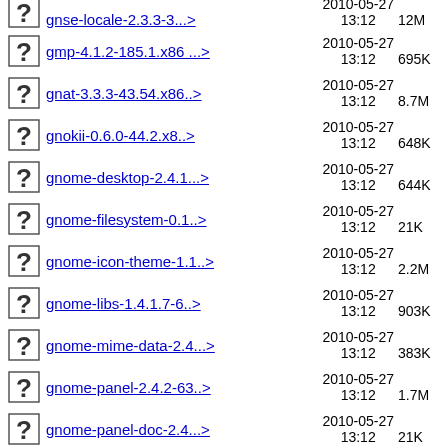gnse-locale-2.3.3-3..> 2010-05-27 13:12 12M
gmp-4.1.2-185.1.x86 ..> 2010-05-27 13:12 695K
gnat-3.3.3-43.54.x86..> 2010-05-27 13:12 8.7M
gnokii-0.6.0-44.2.x8..> 2010-05-27 13:12 648K
gnome-desktop-2.4.1...> 2010-05-27 13:12 644K
gnome-filesystem-0.1..> 2010-05-27 13:12 21K
gnome-icon-theme-1.1..> 2010-05-27 13:12 2.2M
gnome-libs-1.4.1.7-6..> 2010-05-27 13:12 903K
gnome-mime-data-2.4...> 2010-05-27 13:12 383K
gnome-panel-2.4.2-63..> 2010-05-27 13:12 1.7M
gnome-panel-doc-2.4...> 2010-05-27 13:12 21K
gnome-vfs-1.0.5-806...> 2010-05-27 13:12 370K